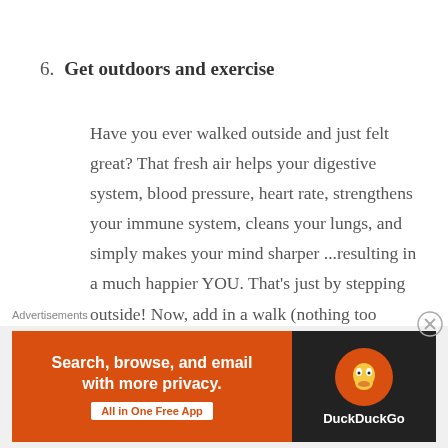6.  Get outdoors and exercise
Have you ever walked outside and just felt great? That fresh air helps your digestive system, blood pressure, heart rate, strengthens your immune system, cleans your lungs, and simply makes your mind sharper ...resulting in a much happier YOU. That's just by stepping outside! Now, add in a walk (nothing too drastic) for starters and build your way
Advertisements  Search, browse, and email with more privacy. All in One Free App  DuckDuckGo